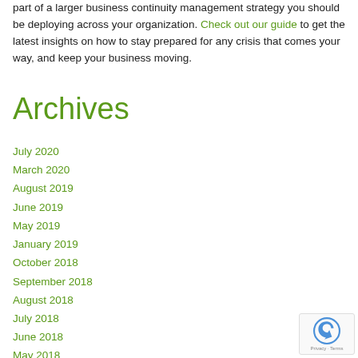part of a larger business continuity management strategy you should be deploying across your organization. Check out our guide to get the latest insights on how to stay prepared for any crisis that comes your way, and keep your business moving.
Archives
July 2020
March 2020
August 2019
June 2019
May 2019
January 2019
October 2018
September 2018
August 2018
July 2018
June 2018
May 2018
April 2018